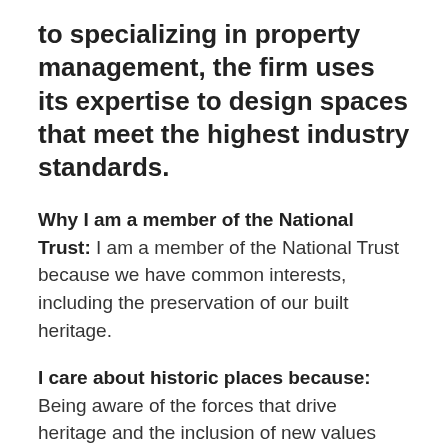to specializing in property management, the firm uses its expertise to design spaces that meet the highest industry standards.
Why I am a member of the National Trust: I am a member of the National Trust because we have common interests, including the preservation of our built heritage.
I care about historic places because: Being aware of the forces that drive heritage and the inclusion of new values that now focus on economic profitability, continued use of buildings and engagement, we are rehabilitating and restoring many abandoned and deteriorating buildings stone